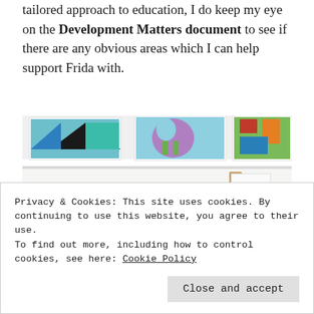tailored approach to education, I do keep my eye on the Development Matters document to see if there are any obvious areas which I can help support Frida with.
[Figure (photo): Photo of a children's room wall with colorful artwork on a white shelf and embroidery hoops hanging on the wall, along with a wooden easel or stand visible on the right side.]
Privacy & Cookies: This site uses cookies. By continuing to use this website, you agree to their use.
To find out more, including how to control cookies, see here: Cookie Policy